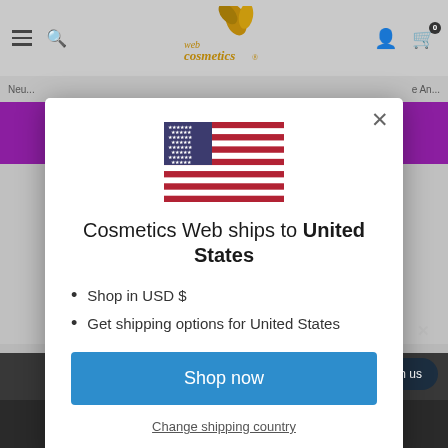[Figure (screenshot): Cosmetics Web website header with hamburger menu, search icon, logo, account icon, and cart icon with badge showing 0]
Neu... e An...
[Figure (illustration): US flag SVG inside modal dialog]
Cosmetics Web ships to United States
Shop in USD $
Get shipping options for United States
Shop now
Change shipping country
Chat with us
ACCEPT COOKIES
PRIVACY...